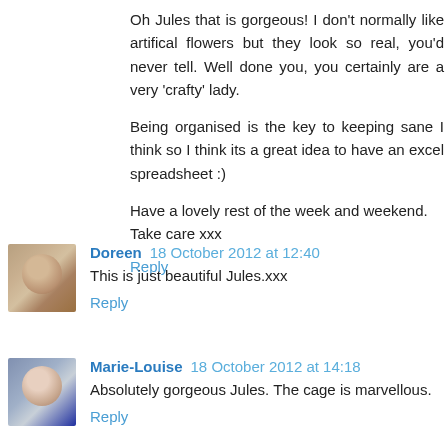Oh Jules that is gorgeous! I don't normally like artifical flowers but they look so real, you'd never tell. Well done you, you certainly are a very 'crafty' lady.

Being organised is the key to keeping sane I think so I think its a great idea to have an excel spreadsheet :)

Have a lovely rest of the week and weekend. Take care xxx
Reply
Doreen 18 October 2012 at 12:40
This is just beautiful Jules.xxx
Reply
Marie-Louise 18 October 2012 at 14:18
Absolutely gorgeous Jules. The cage is marvellous.
Reply